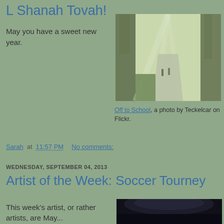L Shanah Tovah!
May you have a sweet new year.
[Figure (photo): A misty morning path through trees with sunbeams, people walking, titled Off to School by Teckelcar on Flickr.]
Off to School, a photo by Teckelcar on Flickr.
Sarah at 11:57 PM    No comments:
WEDNESDAY, SEPTEMBER 04, 2013
Artist of the Week: Soccer Tourney
This week's artist, or rather artists, are May...
[Figure (photo): Bottom portion of a photo showing dark object, possibly soccer-related.]